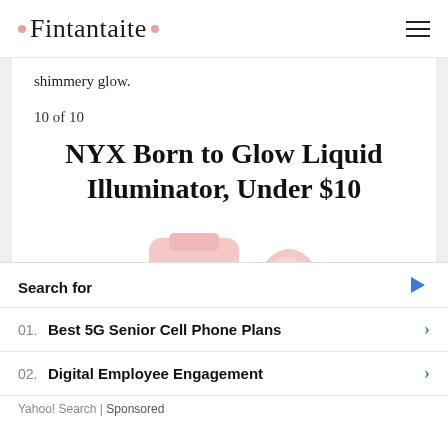Fintantaite
shimmery glow.
10 of 10
NYX Born to Glow Liquid Illuminator, Under $10
[Figure (photo): NYX Born to Glow Liquid Illuminator product tube and swatch in pink/rose gold color]
Search for
01. Best 5G Senior Cell Phone Plans
02. Digital Employee Engagement
Yahoo! Search | Sponsored